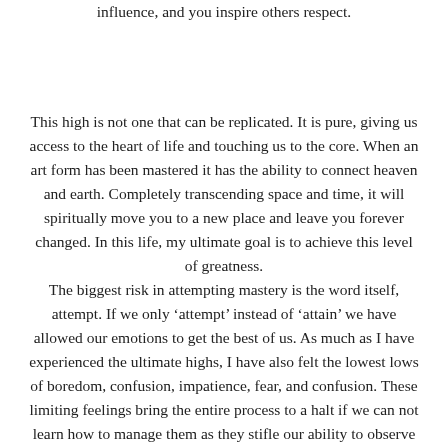influence, and you inspire others respect.
This high is not one that can be replicated. It is pure, giving us access to the heart of life and touching us to the core. When an art form has been mastered it has the ability to connect heaven and earth. Completely transcending space and time, it will spiritually move you to a new place and leave you forever changed. In this life, my ultimate goal is to achieve this level of greatness.
The biggest risk in attempting mastery is the word itself, attempt. If we only ‘attempt’ instead of ‘attain’ we have allowed our emotions to get the best of us. As much as I have experienced the ultimate highs, I have also felt the lowest lows of boredom, confusion, impatience, fear, and confusion. These limiting feelings bring the entire process to a halt if we can not learn how to manage them as they stifle our ability to observe and learn. This is in fact a process, an ebb and flow, which entails different stages